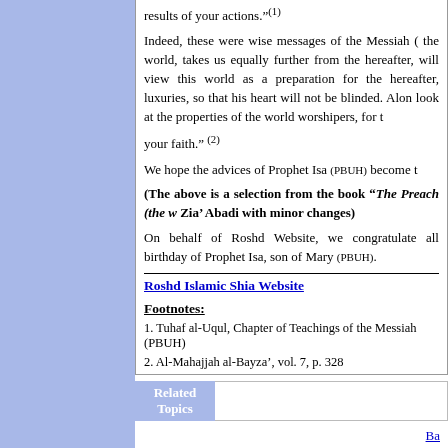results of your actions."(1)
Indeed, these were wise messages of the Messiah (the world, takes us equally further from the hereafter, will view this world as a preparation for the hereafter, luxuries, so that his heart will not be blinded. Along look at the properties of the world worshipers, for the your faith." (2)
We hope the advices of Prophet Isa (PBUH) become t
(The above is a selection from the book “The Preach (the w... Zia’ Abadi with minor changes)
On behalf of Roshd Website, we congratulate all birthday of Prophet Isa, son of Mary (PBUH).
Roshd Islamic Shia Website
Footnotes:
1. Tuhaf al-Uqul, Chapter of Teachings of the Messiah (PBUH)
2. Al-Mahajjah al-Bayza’, vol. 7, p. 328
Related Topics
Ba